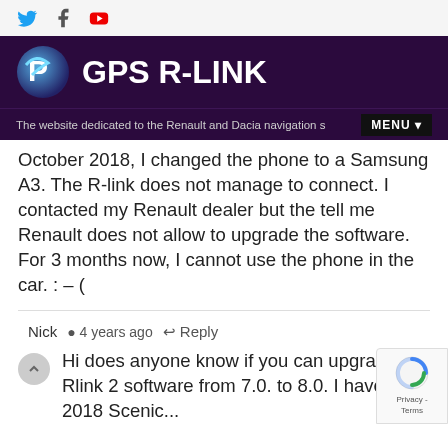GPS R-LINK — The website dedicated to the Renault and Dacia navigation systems
October 2018, I changed the phone to a Samsung A3. The R-link does not manage to connect. I contacted my Renault dealer but the tell me Renault does not allow to upgrade the software. For 3 months now, I cannot use the phone in the car. : – (
Nick  4 years ago  Reply
Hi does anyone know if you can upgrade Rlink 2 software from 7.0. to 8.0. I have 2018 Scenic...